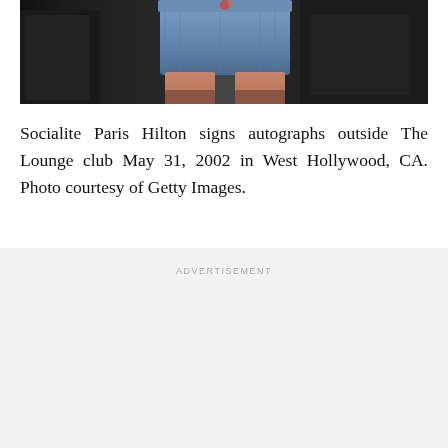[Figure (photo): Partial photograph showing a person in denim shorts/jeans, cropped, dark background]
Socialite Paris Hilton signs autographs outside The Lounge club May 31, 2002 in West Hollywood, CA. Photo courtesy of Getty Images.
ADVERTISEMENT